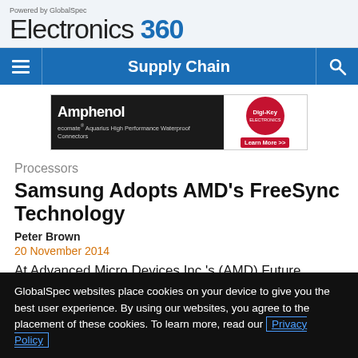Powered by GlobalSpec Electronics 360 — Supply Chain
[Figure (other): Amphenol ecomate Aquarius High Performance Waterproof Connectors advertisement with Digi-Key Learn More button]
Processors
Samsung Adopts AMD's FreeSync Technology
Peter Brown
20 November 2014
At Advanced Micro Devices Inc.'s (AMD) Future
GlobalSpec websites place cookies on your device to give you the best user experience. By using our websites, you agree to the placement of these cookies. To learn more, read our Privacy Policy